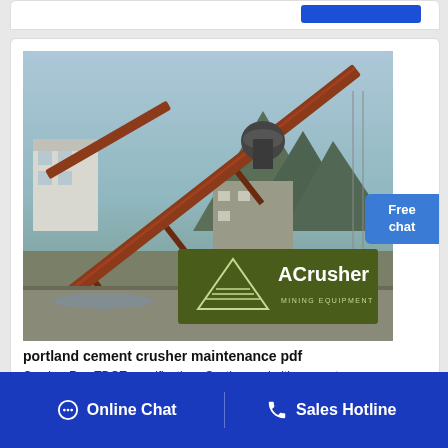[Figure (photo): ACrusher mining equipment facility showing industrial conveyor belts, crusher plant, buildings, and mountains in the background. ACrusher Mining Equipment logo overlay in bottom-right of photo.]
portland cement crusher maintenance pdf
Crusher Run TDOT specifications Section asphaltic concrete design mixes and portland cement concrete mixes Obtain…
Free chat
Online Chat   Sales Hotline